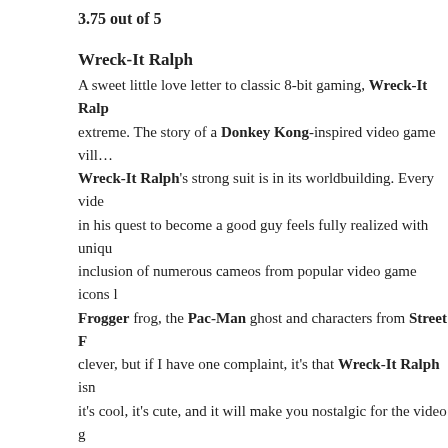3.75 out of 5
Wreck-It Ralph
A sweet little love letter to classic 8-bit gaming, Wreck-It Ralph extreme. The story of a Donkey Kong-inspired video game vill... Wreck-It Ralph's strong suit is in its worldbuilding. Every vid... in his quest to become a good guy feels fully realized with uniq... inclusion of numerous cameos from popular video game icons l... Frogger frog, the Pac-Man ghost and characters from Street F... clever, but if I have one complaint, it's that Wreck-It Ralph isn... it's cool, it's cute, and it will make you nostalgic for the video g... expect a lot of big laughs. Incidentally, I totally want to play all ... movie.
3.5 out of 5
See you next Sunday for three more thrilling short reviews!
This entry was posted in Movies, Sunday Short Reviews. Bookmark the perm...